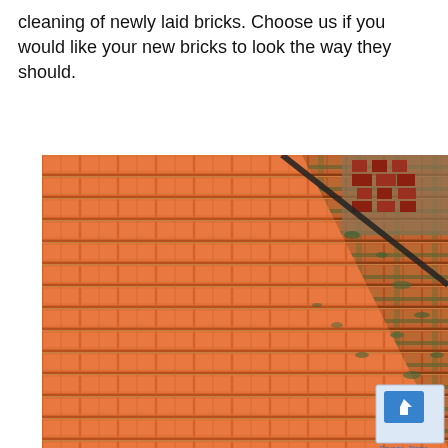cleaning of newly laid bricks. Choose us if you would like your new bricks to look the way they should.
[Figure (photo): Before and after photo of a tiled roof showing cleaned orange/terracotta tiles on the left half and mossy/dirty tiles on the right half, demonstrating a cleaning service result. A Google Maps privacy/terms badge is visible in the bottom right corner.]